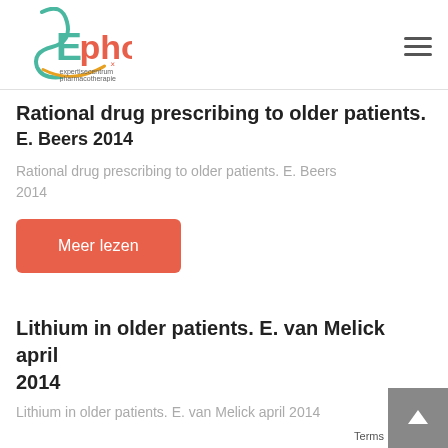[Figure (logo): Ephor logo - expertisecentrum pharmacotherapie bij ouderen]
Rational drug prescribing to older patients.
E. Beers 2014
Rational drug prescribing to older patients. E. Beers 2014
Meer lezen
Lithium in older patients. E. van Melick april 2014
Lithium in older patients. E. van Melick april 2014